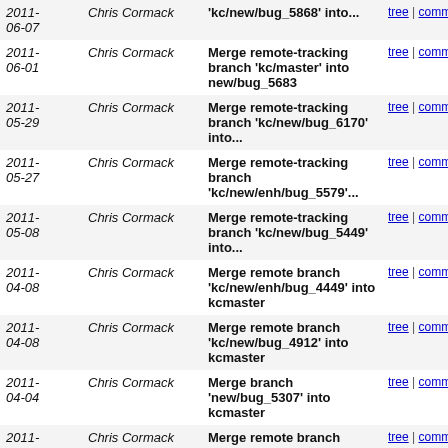| Date | Author | Message | Links |
| --- | --- | --- | --- |
| 2011-06-07 | Chris Cormack | Merge remote-tracking branch 'kc/new/bug_5868' into... | tree | commitdiff |
| 2011-06-01 | Chris Cormack | Merge remote-tracking branch 'kc/master' into new/bug_5683 | tree | commitdiff |
| 2011-05-29 | Chris Cormack | Merge remote-tracking branch 'kc/new/bug_6170' into... | tree | commitdiff |
| 2011-05-27 | Chris Cormack | Merge remote-tracking branch 'kc/new/enh/bug_5579'... | tree | commitdiff |
| 2011-05-08 | Chris Cormack | Merge remote-tracking branch 'kc/new/bug_5449' into... | tree | commitdiff |
| 2011-04-08 | Chris Cormack | Merge remote branch 'kc/new/enh/bug_4449' into kcmaster | tree | commitdiff |
| 2011-04-08 | Chris Cormack | Merge remote branch 'kc/new/bug_4912' into kcmaster | tree | commitdiff |
| 2011-04-04 | Chris Cormack | Merge branch 'new/bug_5307' into kcmaster | tree | commitdiff |
| 2011-04-01 | Chris Cormack | Merge remote branch 'kc/new/enh/bug_5432' into kcmaster | tree | commitdiff |
| 2011-03-28 | Chris Cormack | Merge remote branch 'kc/master' into new/bug_5817 | tree | commitdiff |
| 2011-03-27 | Chris Cormack | Merge remote branch 'kc/new/enh/bug_1962' into kcmaster | tree | commitdiff |
| 2011-03-21 | Chris Cormack | Merge remote branch 'kc/master' into | tree | commitdiff |